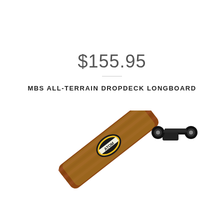$155.95
MBS ALL-TERRAIN DROPDECK LONGBOARD
[Figure (photo): A longboard skateboard (Atom brand) shown at an angle, featuring a wood-grain deck with decorative yellow-green graphic patterns, black trucks, and black wheels. The Atom logo with a circular badge is visible on the deck.]